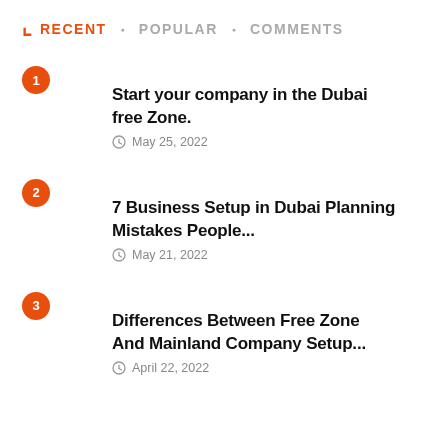RECENT · POPULAR · COMMENTS
Start your company in the Dubai free Zone. — May 25, 2022
7 Business Setup in Dubai Planning Mistakes People... — May 21, 2022
Differences Between Free Zone And Mainland Company Setup... — April 22, 2022